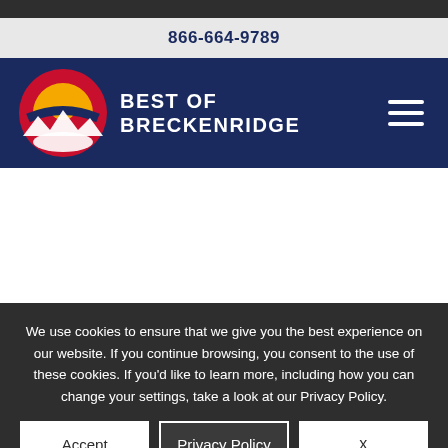866-664-9789
[Figure (logo): Best of Breckenridge logo with Colorado flag colors circle and mountain imagery, nav bar with hamburger menu]
We use cookies to ensure that we give you the best experience on our website. If you continue browsing, you consent to the use of these cookies. If you'd like to learn more, including how you can change your settings, take a look at our Privacy Policy.
Accept | Privacy Policy | x